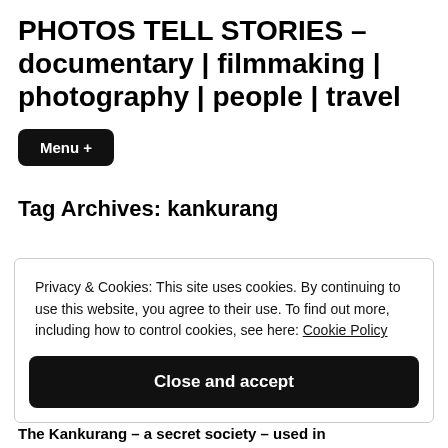PHOTOS TELL STORIES – documentary | filmmaking | photography | people | travel
Menu +
Tag Archives: kankurang
Privacy & Cookies: This site uses cookies. By continuing to use this website, you agree to their use. To find out more, including how to control cookies, see here: Cookie Policy
Close and accept
The Kankurang – a secret society – used in